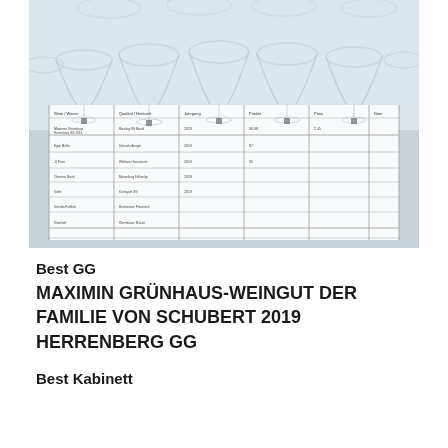[Figure (photo): Photograph of wine glasses arranged on a table with a tasting sheet/scorecard visible underneath. The sheet has a grid layout with handwritten wine notes and ratings. Multiple stemmed wine glasses are lined up with a white evaluation document beneath them.]
Best GG
MAXIMIN GRÜNHAUS-WEINGUT DER FAMILIE VON SCHUBERT 2019 HERRENBERG GG
Best Kabinett